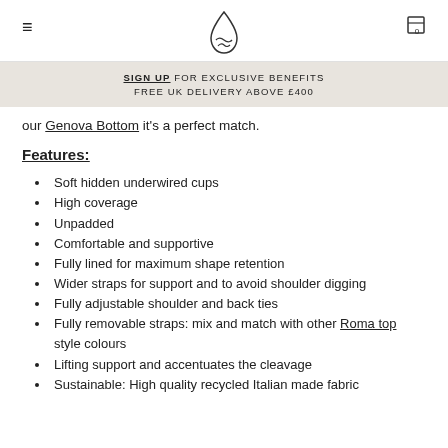≡  [logo]  🛒 0
SIGN UP FOR EXCLUSIVE BENEFITS
FREE UK DELIVERY ABOVE £400
our Genova Bottom it's a perfect match.
Features:
Soft hidden underwired cups
High coverage
Unpadded
Comfortable and supportive
Fully lined for maximum shape retention
Wider straps for support and to avoid shoulder digging
Fully adjustable shoulder and back ties
Fully removable straps: mix and match with other Roma top style colours
Lifting support and accentuates the cleavage
Sustainable: High quality recycled Italian made fabric